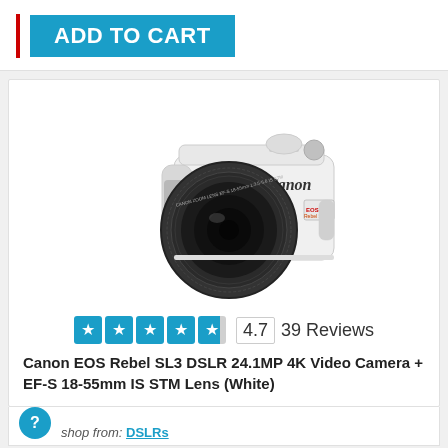[Figure (other): ADD TO CART button with red vertical bar accent and blue background button]
[Figure (photo): White Canon EOS Rebel SL3 DSLR camera with EF-S 18-55mm IS STM lens, front view]
4.7  39 Reviews
Canon EOS Rebel SL3 DSLR 24.1MP 4K Video Camera + EF-S 18-55mm IS STM Lens (White)
shop from: DSLRs